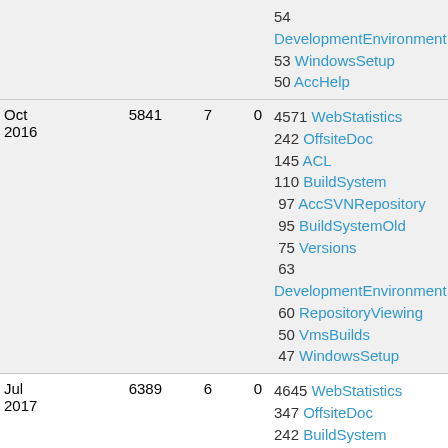| Date | Col1 | Col2 | Col3 | Top Pages |
| --- | --- | --- | --- | --- |
|  |  |  |  | 54 DevelopmentEnvironment
53 WindowsSetup
50 AccHelp |
| Oct 2016 | 5841 | 7 | 0 | 4571 WebStatistics
242 OffsiteDoc
145 ACL
110 BuildSystem
97 AccSVNRepository
95 BuildSystemOld
75 Versions
63 DevelopmentEnvironment
60 RepositoryViewing
50 VmsBuilds
47 WindowsSetup |
| Jul 2017 | 6389 | 6 | 0 | 4645 WebStatistics
347 OffsiteDoc
242 BuildSystem |